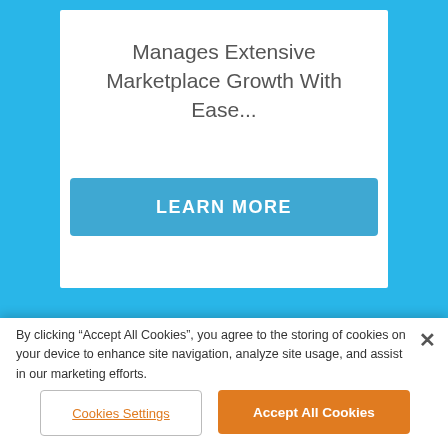Manages Extensive Marketplace Growth With Ease...
LEARN MORE
[Figure (illustration): Orange globe/world icon]
Contact Us
By clicking “Accept All Cookies”, you agree to the storing of cookies on your device to enhance site navigation, analyze site usage, and assist in our marketing efforts.
Cookies Settings
Accept All Cookies